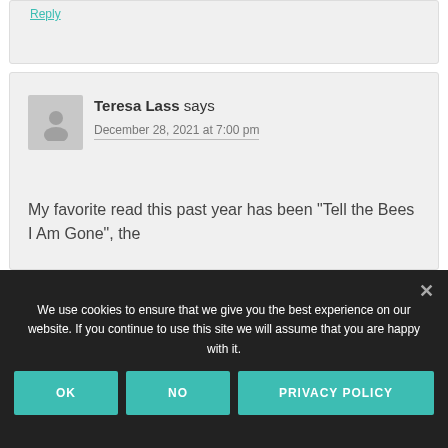Reply
Teresa Lass says
December 28, 2021 at 7:00 pm
My favorite read this past year has been “Tell the Bees I Am Gone”, the
We use cookies to ensure that we give you the best experience on our website. If you continue to use this site we will assume that you are happy with it.
OK
NO
PRIVACY POLICY